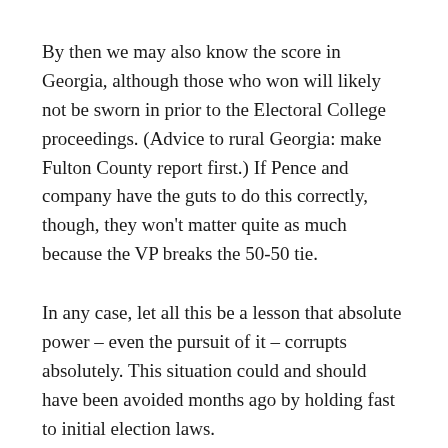By then we may also know the score in Georgia, although those who won will likely not be sworn in prior to the Electoral College proceedings. (Advice to rural Georgia: make Fulton County report first.) If Pence and company have the guts to do this correctly, though, they won’t matter quite as much because the VP breaks the 50-50 tie.
In any case, let all this be a lesson that absolute power – even the pursuit of it – corrupts absolutely. This situation could and should have been avoided months ago by holding fast to initial election laws.